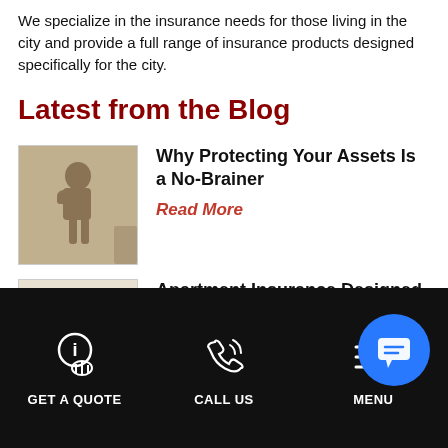We specialize in the insurance needs for those living in the city and provide a full range of insurance products designed specifically for the city.
Latest from the Blog
[Figure (photo): Thumbnail photo of The Thinker sculpture by Rodin, a bronze figure in a thinking pose]
Why Protecting Your Assets Is a No-Brainer
Read More
[Figure (photo): Thumbnail photo of an apartment interior or city scene with blue tones]
Apartment Insurance Designed for You Is Best — Here's Why
Read More
GET A QUOTE   CALL US   MENU